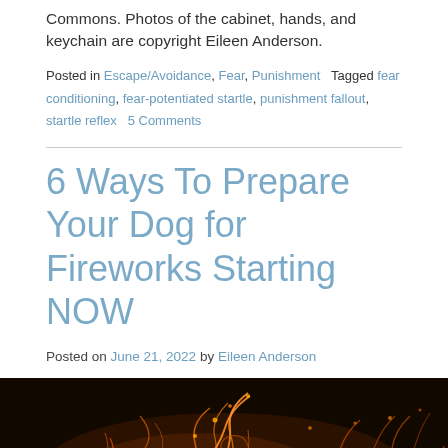Commons. Photos of the cabinet, hands, and keychain are copyright Eileen Anderson.
Posted in Escape/Avoidance, Fear, Punishment   Tagged fear conditioning, fear-potentiated startle, punishment fallout, startle reflex   5 Comments
6 Ways To Prepare Your Dog for Fireworks Starting NOW
Posted on June 21, 2022 by Eileen Anderson
[Figure (photo): Long-exposure photo of fireworks sparks on a dark background, showing orange and golden light trails swirling and streaking across a black night sky.]